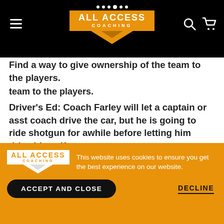ALL ACCESS COACHING
Find a way to give ownership of the team to the players.
Driver's Ed: Coach Farley will let a captain or asst coach drive the car, but he is going to ride shotgun for awhile before letting him drive himself.
MANAGE THE MESSAGE
This website uses cookies to ensure you get the best experience on our website.